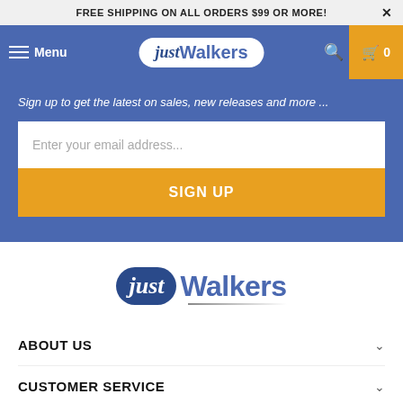FREE SHIPPING ON ALL ORDERS $99 OR MORE!
[Figure (screenshot): JustWalkers navigation bar with menu icon, logo, search icon, and cart button showing 0 items]
Sign up to get the latest on sales, new releases and more ...
Enter your email address...
SIGN UP
[Figure (logo): JustWalkers logo with italic 'just' in dark blue pill and 'Walkers' in blue text]
ABOUT US
CUSTOMER SERVICE